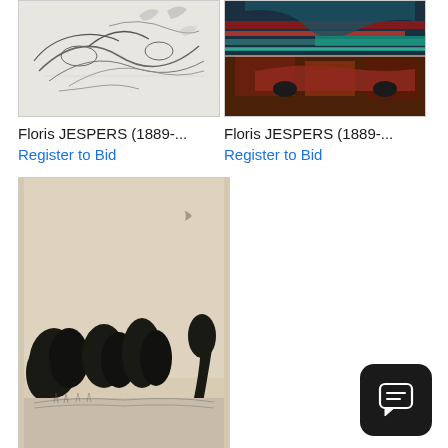[Figure (illustration): Pencil sketch artwork by Floris Jespers, abstract figure with curved lines]
Floris JESPERS (1889-...
Register to Bid
[Figure (illustration): Colorful painting by Floris Jespers with red, teal and dark tones]
Floris JESPERS (1889-...
Register to Bid
[Figure (illustration): Ink landscape drawing by Floris Jespers, showing trees with dark foliage and a crescent moon]
Floris JESPERS (1889-...
Register to Bid